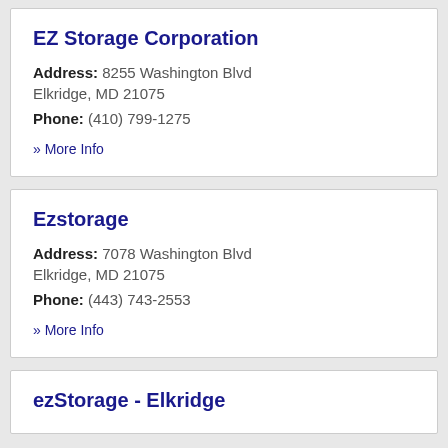EZ Storage Corporation
Address: 8255 Washington Blvd Elkridge, MD 21075
Phone: (410) 799-1275
» More Info
Ezstorage
Address: 7078 Washington Blvd Elkridge, MD 21075
Phone: (443) 743-2553
» More Info
ezStorage - Elkridge